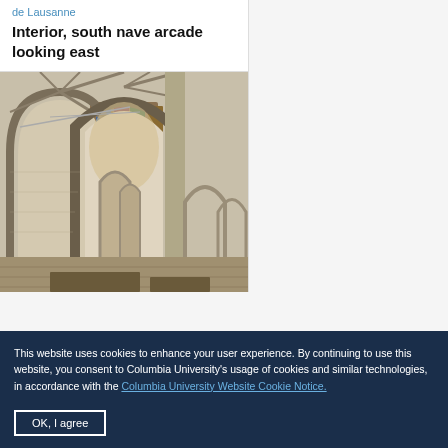de Lausanne
Interior, south nave arcade looking east
[Figure (photo): Interior photograph of a Gothic cathedral showing south nave arcade looking east, with stone arches, vaulted ceiling, and stained glass windows visible in the background]
This website uses cookies to enhance your user experience. By continuing to use this website, you consent to Columbia University's usage of cookies and similar technologies, in accordance with the Columbia University Website Cookie Notice.
OK, I agree